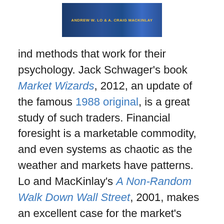[Figure (photo): Book cover image showing 'ANDREW W. LO & A. CRAIG MACKINLAY' text on a dark blue background]
ind methods that work for their psychology. Jack Schwager's book Market Wizards, 2012, an update of the famous 1988 original, is a great study of such traders. Financial foresight is a marketable commodity, and even systems as chaotic as the weather and markets have patterns. Lo and MacKinlay's A Non-Random Walk Down Wall Street, 2001, makes an excellent case for the market's partial predictability. Market movement is random to a first approximation (on average), but as human nature is very slow to change, and is built on top of myriad predictable physical processes, we can always find and profit from predictable patterns, trends, and cycles in markets, as well as all other economic, social, political, and technological systems driven largely by human